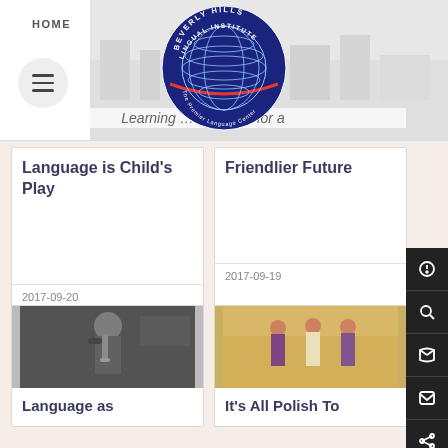HOME
[Figure (logo): Beverly Hills Lingual Institute globe logo with text 'The Premier Language Center']
Learning … nostalgic for a
Language is Child's Play
2017-09-20
Friendlier Future
2017-09-19
[Figure (photo): Black and white photo of a jazz musician playing trumpet at a jazz festival]
Language as
[Figure (photo): Color photo of people in traditional Eastern European folk costumes standing outdoors in front of a yellow building]
It's All Polish To